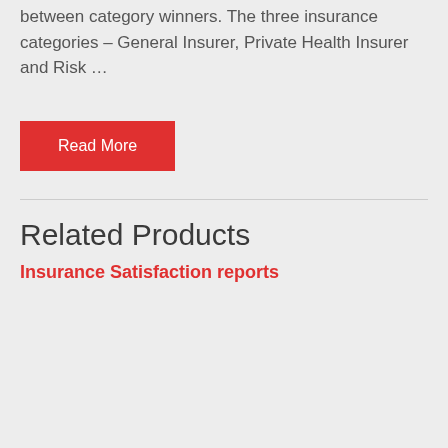between category winners. The three insurance categories – General Insurer, Private Health Insurer and Risk …
Read More
Related Products
Insurance Satisfaction reports